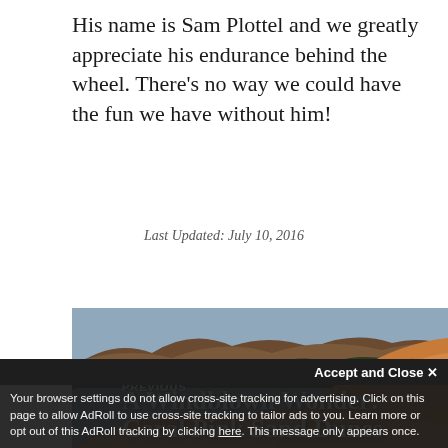His name is Sam Plottel and we greatly appreciate his endurance behind the wheel. There’s no way we could have the fun we have without him!
Last Updated: July 10, 2016
[Figure (photo): Desert landscape with red-orange sand dunes and rocky cliff formations in background under a blue-grey sky]
PREVIOUS
A Windblown Wonder: Coral Pink Sand Dunes
Accept and Close ×
Your browser settings do not allow cross-site tracking for advertising. Click on this page to allow AdRoll to use cross-site tracking to tailor ads to you. Learn more or opt out of this AdRoll tracking by clicking here. This message only appears once.